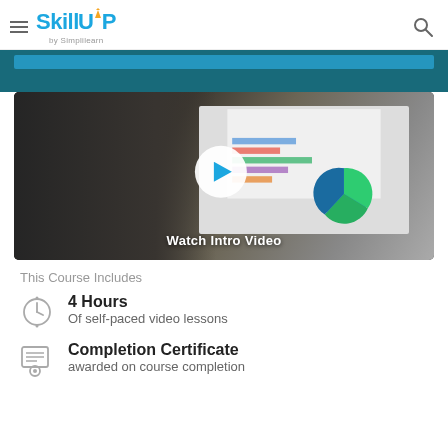SkillUP by Simplilearn
[Figure (screenshot): Video thumbnail showing a person using a laptop with charts on screen, with a play button overlay and 'Watch Intro Video' text]
This Course Includes
4 Hours
Of self-paced video lessons
Completion Certificate
awarded on course completion